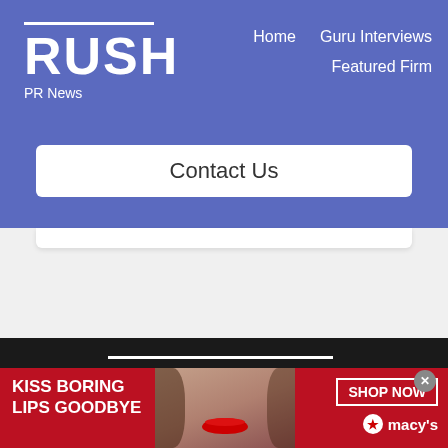RUSH PR News — Home | Guru Interviews | Featured Firm
RUSH
PR News
Home   Guru Interviews   Featured Firm
Contact Us
[Figure (screenshot): Partial second Contact Us search/input box visible at bottom of header area]
[Figure (screenshot): Dark header area with RUSH logo text in white on dark background, partial repeat of site logo]
[Figure (advertisement): Macy's advertisement banner with red background, text KISS BORING LIPS GOODBYE, woman's face with red lips in center, SHOP NOW button and Macy's star logo on right]